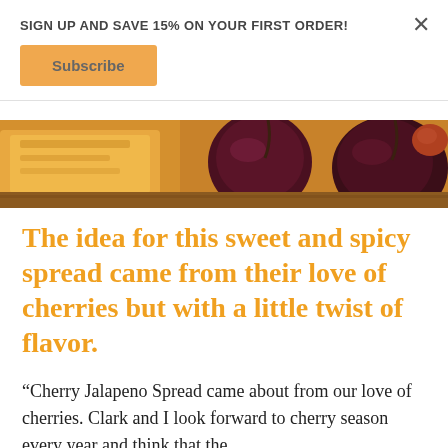SIGN UP AND SAVE 15% ON YOUR FIRST ORDER!
Subscribe
[Figure (photo): Close-up photo of dark cherries and what appears to be toasted bread on a wooden board]
The idea for this sweet and spicy spread came from their love of cherries but with a little twist of flavor.
“Cherry Jalapeno Spread came about from our love of cherries. Clark and I look forward to cherry season every year and think that the